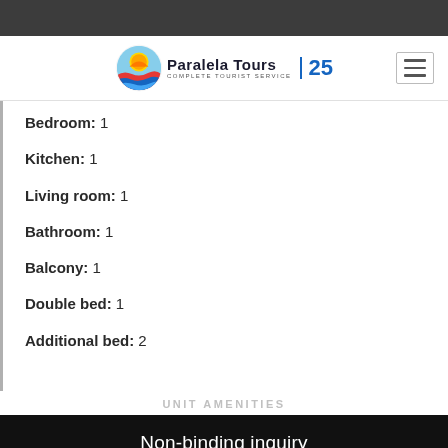[Figure (logo): Paralela Tours logo with sun/waves icon and '25' anniversary badge]
Bedroom:  1
Kitchen:  1
Living room:  1
Bathroom:  1
Balcony:  1
Double bed:  1
Additional bed:  2
UNIT AMENITIES
Non-binding inquiry